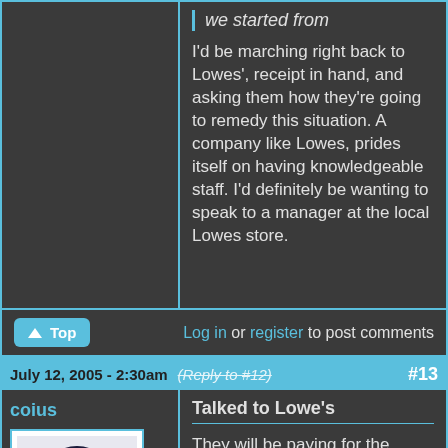we started from
I'd be marching right back to Lowes', receipt in hand, and asking them how they're going to remedy this situation. A company like Lowes, prides itself on having knowledgeable staff. I'd definitely be wanting to speak to a manager at the local Lowes store.
Log in or register to post comments
July 12, 2005 - 2:30am (Reply to #12) #13
coius
Talked to Lowe's
They will be paying for the materials now, but sadly, not the time we have invested in this project.